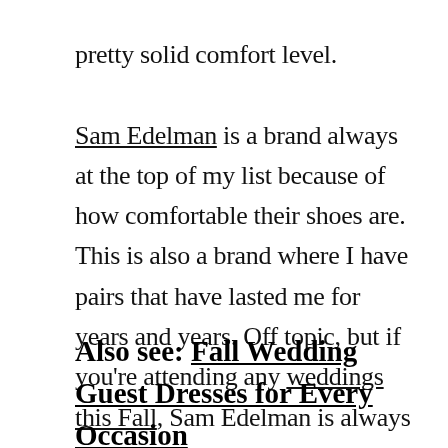pretty solid comfort level. Sam Edelman is a brand always at the top of my list because of how comfortable their shoes are. This is also a brand where I have pairs that have lasted me for years and years. Off topic, but if you're attending any weddings this Fall, Sam Edelman is always my go-to!
Also see: Fall Wedding Guest Dresses for Every Occasion